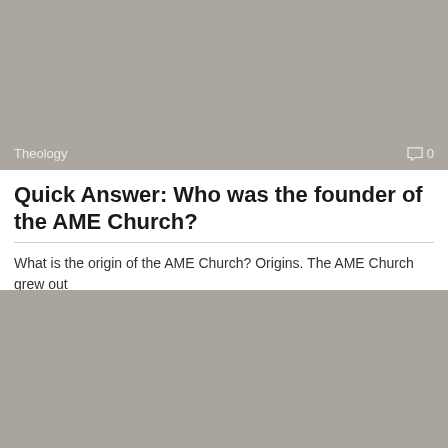[Figure (photo): Gray/taupe colored banner image with Theology label and comment count overlay at bottom]
Quick Answer: Who was the founder of the AME Church?
What is the origin of the AME Church? Origins. The AME Church grew out
[Figure (photo): Gray/taupe colored banner image with Theology label and comment count overlay at bottom]
What religion is when you believe in science?
Defining agnosticism. Agnosticism is of the essence of science, whether ancient or modern. It